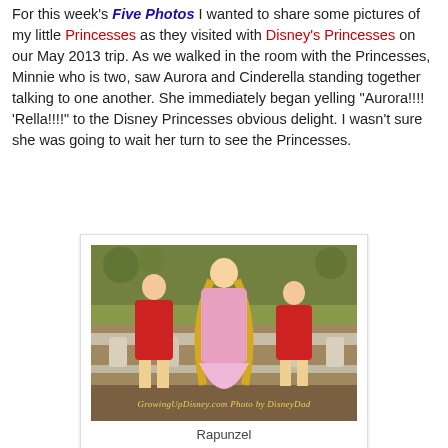For this week's Five Photos I wanted to share some pictures of my little Princesses as they visited with Disney's Princesses on our May 2013 trip.  As we walked in the room with the Princesses,  Minnie who is two, saw Aurora and Cinderella standing together talking to one another.  She immediately began yelling "Aurora!!!! 'Rella!!!!" to the Disney Princesses obvious delight.  I wasn't sure she was going to wait her turn to see the Princesses.
[Figure (photo): Photo of two young girls in red dresses posing with a Disney princess character (Rapunzel) in a decorated room with a balustrade background. Watermark reads: GrowingUpDisney.com  Photo by DisneyDad]
Rapunzel